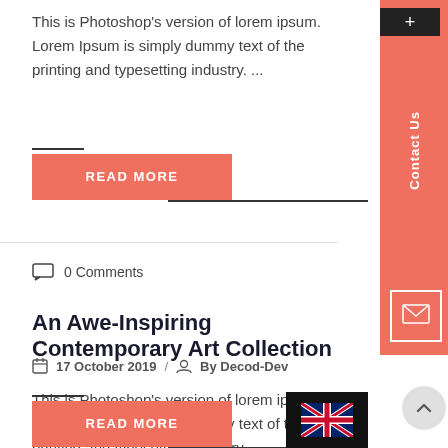This is Photoshop's version of lorem ipsum. Lorem Ipsum is simply dummy text of the printing and typesetting industry. ...
READ MORE
0 Comments
An Awe-Inspiring Contemporary Art Collection
17 October 2019  /  By Decod-Dev
This is Photoshop's version of lorem ipsum. Lorem Ipsum is simply dummy text of the printing and typesetting industry. ...
READ MORE